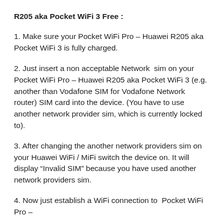R205 aka Pocket WiFi 3 Free :
1. Make sure your Pocket WiFi Pro – Huawei R205 aka Pocket WiFi 3 is fully charged.
2. Just insert a non acceptable Network  sim on your Pocket WiFi Pro – Huawei R205 aka Pocket WiFi 3 (e.g. another than Vodafone SIM for Vodafone Network router) SIM card into the device. (You have to use another network provider sim, which is currently locked to).
3. After changing the another network providers sim on your Huawei WiFi / MiFi switch the device on. It will display “Invalid SIM” because you have used another network providers sim.
4. Now just establish a WiFi connection to  Pocket WiFi Pro –